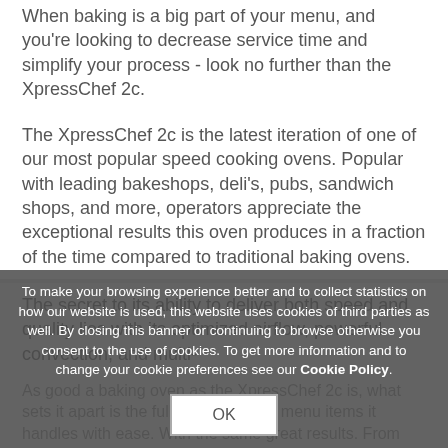When baking is a big part of your menu, and you're looking to decrease service time and simplify your process - look no further than the XpressChef 2c.
The XpressChef 2c is the latest iteration of one of our most popular speed cooking ovens. Popular with leading bakeshops, deli's, pubs, sandwich shops, and more, operators appreciate the exceptional results this oven produces in a fraction of the time compared to traditional baking ovens.
The secret to its ability to deliver both speed and quality lies with its optimized airflow, powerful convection, and multi-...
As good a baking oven as the XpressChef 2c is, what sets it apart is the full range of other menu items it handles with ease. With the same great results. From pizza to steamed vegetables, toasted sandwiches, seafood, and beyond. It's
To make your browsing experience better and to collect statistics on how our website is used, this website uses cookies of third parties as well. By closing this banner or continuing to browse otherwise you consent to the use of cookies. To get more information and to change your cookie preferences see our Cookie Policy.